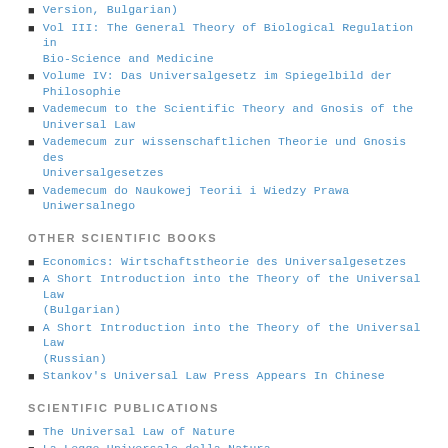Version, Bulgarian)
Vol III: The General Theory of Biological Regulation in Bio-Science and Medicine
Volume IV: Das Universalgesetz im Spiegelbild der Philosophie
Vademecum to the Scientific Theory and Gnosis of the Universal Law
Vademecum zur wissenschaftlichen Theorie und Gnosis des Universalgesetzes
Vademecum do Naukowej Teorii i Wiedzy Prawa Uniwersalnego
OTHER SCIENTIFIC BOOKS
Economics: Wirtschaftstheorie des Universalgesetzes
A Short Introduction into the Theory of the Universal Law (Bulgarian)
A Short Introduction into the Theory of the Universal Law (Russian)
Stankov's Universal Law Press Appears In Chinese
SCIENTIFIC PUBLICATIONS
The Universal Law of Nature
La Legge Universale della Natura
Das Universalgesetz der Natur